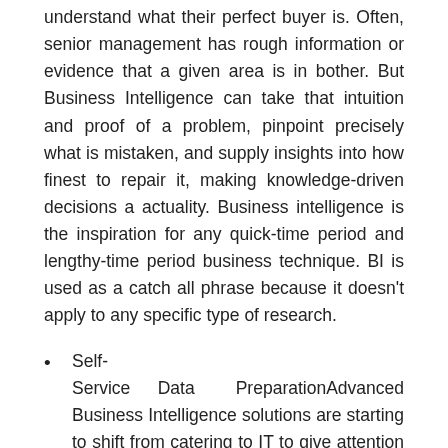understand what their perfect buyer is. Often, senior management has rough information or evidence that a given area is in bother. But Business Intelligence can take that intuition and proof of a problem, pinpoint precisely what is mistaken, and supply insights into how finest to repair it, making knowledge-driven decisions a actuality. Business intelligence is the inspiration for any quick-time period and lengthy-time period business technique. BI is used as a catch all phrase because it doesn't apply to any specific type of research.
Self-Service Data PreparationAdvanced Business Intelligence solutions are starting to shift from catering to IT to give attention to business analyst needs.